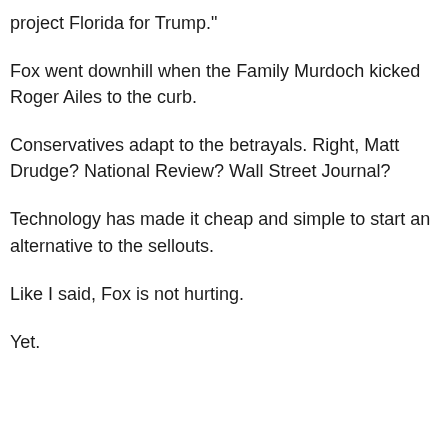project Florida for Trump."
Fox went downhill when the Family Murdoch kicked Roger Ailes to the curb.
Conservatives adapt to the betrayals. Right, Matt Drudge? National Review? Wall Street Journal?
Technology has made it cheap and simple to start an alternative to the sellouts.
Like I said, Fox is not hurting.
Yet.